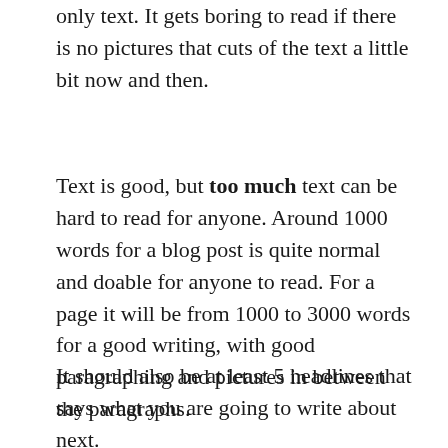only text. It gets boring to read if there is no pictures that cuts of the text a little bit now and then.
Text is good, but too much text can be hard to read for anyone. Around 1000 words for a blog post is quite normal and doable for anyone to read. For a page it will be from 1000 to 3000 words for a good writing, with good paragraphing and pictures in between the paragraphs.
It should also be at least 5 headlines that says what you are going to write about next.